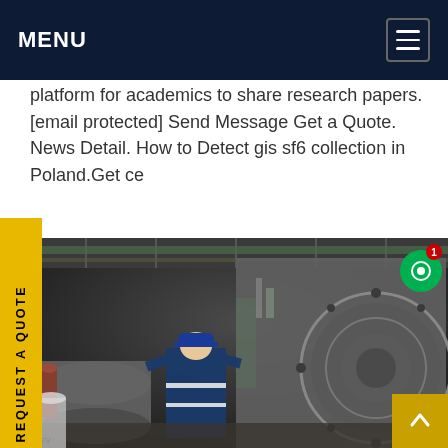MENU
platform for academics to share research papers. [email protected] Send Message Get a Quote. News Detail. How to Detect gis sf6 collection in Poland.Get ce
[Figure (photo): Industrial worker in blue coveralls and hard hat inspecting large SF6 gas insulated switchgear (GIS) equipment in a facility. Large cylindrical and circular metal components visible.]
REQUEST A QUOTE